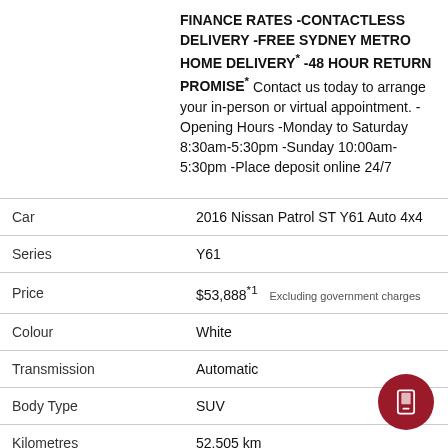FINANCE RATES -CONTACTLESS DELIVERY -FREE SYDNEY METRO HOME DELIVERY* -48 HOUR RETURN PROMISE* Contact us today to arrange your in-person or virtual appointment. -Opening Hours -Monday to Saturday 8:30am-5:30pm -Sunday 10:00am-5:30pm -Place deposit online 24/7
|  |  |
| --- | --- |
| Car | 2016 Nissan Patrol ST Y61 Auto 4x4 |
| Series | Y61 |
| Price | $53,888*1   Excluding government charges |
| Colour | White |
| Transmission | Automatic |
| Body Type | SUV |
| Kilometres | 52,505 km |